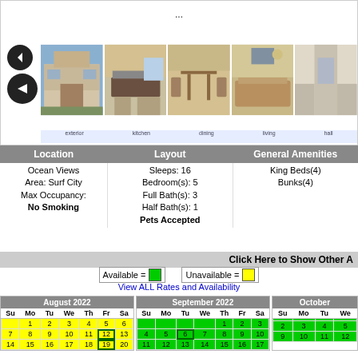[Figure (photo): Property photo strip with navigation arrows and 5 thumbnail images of vacation rental interior and exterior]
| Location | Layout | General Amenities |
| --- | --- | --- |
| Ocean Views
Area: Surf City
Max Occupancy:
No Smoking | Sleeps: 16
Bedroom(s): 5
Full Bath(s): 3
Half Bath(s): 1
Pets Accepted | King Beds(4)
Bunks(4) |
Click Here to Show Other A
Available = | Unavailable =
View ALL Rates and Availability
| Su | Mo | Tu | We | Th | Fr | Sa |
| --- | --- | --- | --- | --- | --- | --- |
|  | 1 | 2 | 3 | 4 | 5 | 6 |
| 7 | 8 | 9 | 10 | 11 | 12 | 13 |
| 14 | 15 | 16 | 17 | 18 | 19 | 20 |
| Su | Mo | Tu | We | Th | Fr | Sa |
| --- | --- | --- | --- | --- | --- | --- |
|  |  |  |  | 1 | 2 | 3 |
| 4 | 5 | 6 | 7 | 8 | 9 | 10 |
| 11 | 12 | 13 | 14 | 15 | 16 | 17 |
| Su | Mo | Tu | We |
| --- | --- | --- | --- |
|  |  |  |  |
| 2 | 3 | 4 | 5 |
| 9 | 10 | 11 | 12 |